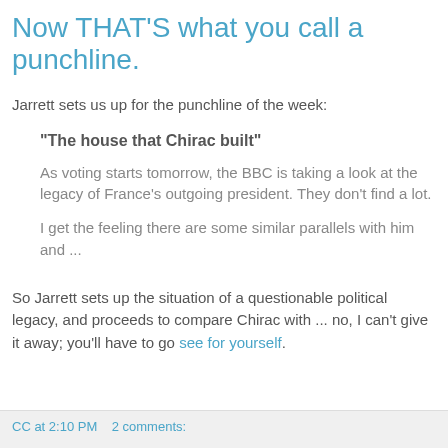Now THAT'S what you call a punchline.
Jarrett sets us up for the punchline of the week:
"The house that Chirac built"
As voting starts tomorrow, the BBC is taking a look at the legacy of France's outgoing president. They don't find a lot.
I get the feeling there are some similar parallels with him and ...
So Jarrett sets up the situation of a questionable political legacy, and proceeds to compare Chirac with ... no, I can't give it away; you'll have to go see for yourself.
CC at 2:10 PM   2 comments: